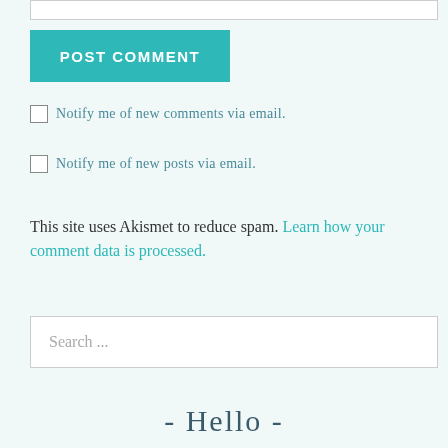[input field at top]
POST COMMENT
Notify me of new comments via email.
Notify me of new posts via email.
This site uses Akismet to reduce spam. Learn how your comment data is processed.
Search ...
- Hello -